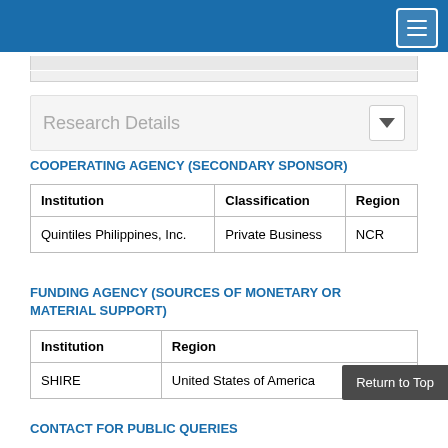COOPERATING AGENCY (SECONDARY SPONSOR)
| Institution | Classification | Region |
| --- | --- | --- |
| Quintiles Philippines, Inc. | Private Business | NCR |
FUNDING AGENCY (SOURCES OF MONETARY OR MATERIAL SUPPORT)
| Institution | Region |
| --- | --- |
| SHIRE | United States of America |
CONTACT FOR PUBLIC QUERIES